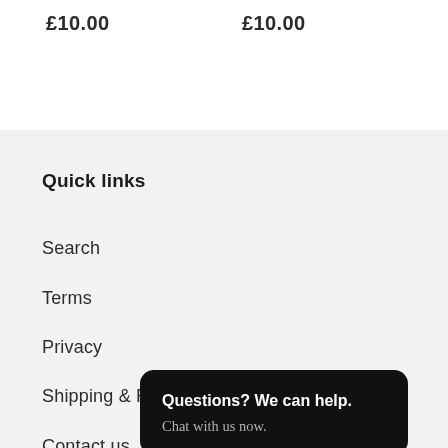£10.00
£10.00
Quick links
Search
Terms
Privacy
Shipping & Re…
Contact us
Questions? We can help.
Chat with us now.